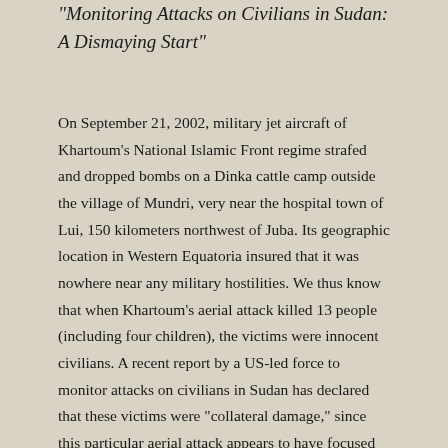Monitoring Attacks on Civilians in Sudan: A Dismaying Start"
On September 21, 2002, military jet aircraft of Khartoum's National Islamic Front regime strafed and dropped bombs on a Dinka cattle camp outside the village of Mundri, very near the hospital town of Lui, 150 kilometers northwest of Juba. Its geographic location in Western Equatoria insured that it was nowhere near any military hostilities. We thus know that when Khartoum's aerial attack killed 13 people (including four children), the victims were innocent civilians. A recent report by a US-led force to monitor attacks on civilians in Sudan has declared that these victims were “collateral damage,” since this particular aerial attack appears to have focused on a “target of opportunity”: a Khartoum-purchased 105mm Chinese artillery piece that was in all likelihood inoperative and unserviceable. But whether or not civilians were the primary target on this occasion, we know that in